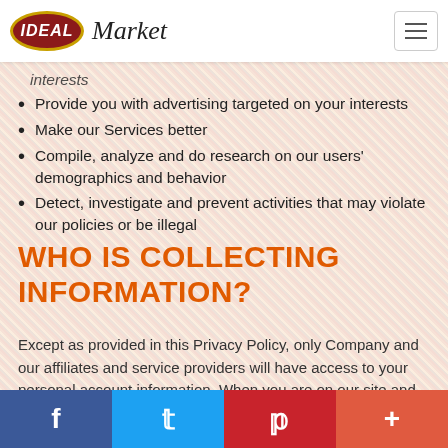IDEAL Market
interests
Provide you with advertising targeted on your interests
Make our Services better
Compile, analyze and do research on our users' demographics and behavior
Detect, investigate and prevent activities that may violate our policies or be illegal
WHO IS COLLECTING INFORMATION?
Except as provided in this Privacy Policy, only Company and our affiliates and service providers will have access to your personal account information. When you are on our site and are asked for personal information, you are sharing that information with Company and our affiliates and service providers. If personal data is
Facebook | Twitter | Pinterest | +